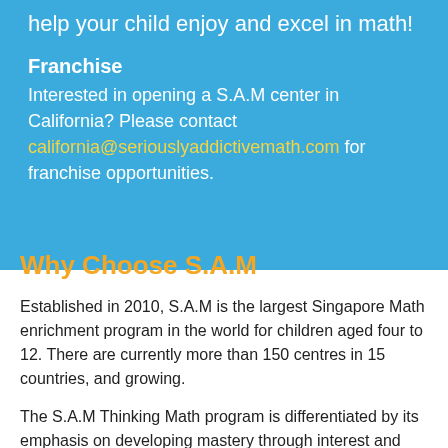help your child enjoy and excel in math!
Franchise
Interested in opening a S.A.M center in California? Please contact california@seriouslyaddictivemath.com for franchise opportunities.
Why Choose S.A.M
Established in 2010, S.A.M is the largest Singapore Math enrichment program in the world for children aged four to 12. There are currently more than 150 centres in 15 countries, and growing.
The S.A.M Thinking Math program is differentiated by its emphasis on developing mastery through interest and understanding in mathematics, over memorisation and drilling to chase grades. Its focus on curriculum and coaching enables children to develop a positive attitude...